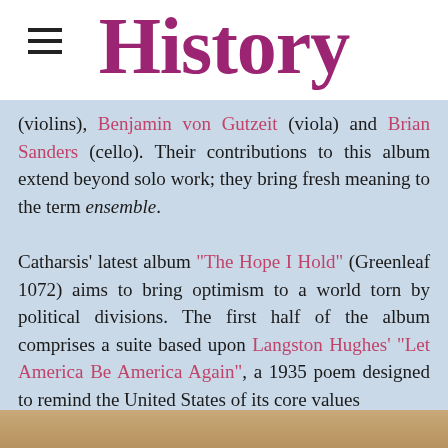History
(violins), Benjamin von Gutzeit (viola) and Brian Sanders (cello). Their contributions to this album extend beyond solo work; they bring fresh meaning to the term ensemble.
Catharsis' latest album "The Hope I Hold" (Greenleaf 1072) aims to bring optimism to a world torn by political divisions. The first half of the album comprises a suite based upon Langston Hughes' "Let America Be America Again", a 1935 poem designed to remind the United States of its core values
[Figure (photo): Bottom strip showing a warm-toned sandy/earthy background image]